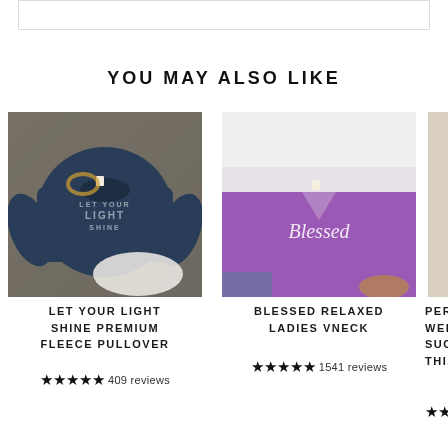YOU MAY ALSO LIKE
[Figure (photo): Navy blue 'Let Your Light Shine' premium fleece pullover sweatshirt on wooden background with white pants and pearl necklace]
LET YOUR LIGHT SHINE PREMIUM FLEECE PULLOVER
★★★★★ 409 reviews
[Figure (photo): Purple 'Blessed' ladies relaxed vneck t-shirt on white fur background with jeans and tan shoes]
BLESSED RELAXED LADIES VNECK
★★★★★ 1541 reviews
[Figure (photo): Partially visible third product - Perhaps Were Made Such A This Rock]
PERHAP WERE MA SUCH A THIS ROC
★★★★★